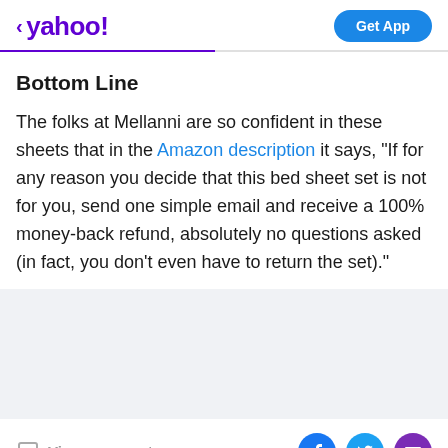< yahoo!  Get App
Bottom Line
The folks at Mellanni are so confident in these sheets that in the Amazon description it says, "If for any reason you decide that this bed sheet set is not for you, send one simple email and receive a 100% money-back refund, absolutely no questions asked (in fact, you don't even have to return the set)."
View comments